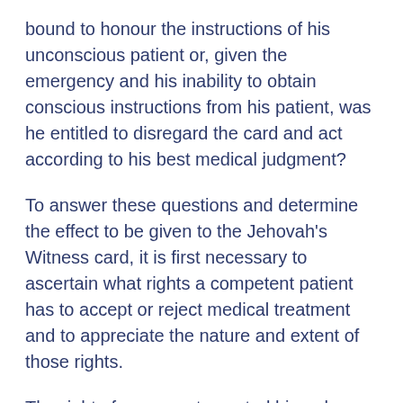bound to honour the instructions of his unconscious patient or, given the emergency and his inability to obtain conscious instructions from his patient, was he entitled to disregard the card and act according to his best medical judgment?
To answer these questions and determine the effect to be given to the Jehovah's Witness card, it is first necessary to ascertain what rights a competent patient has to accept or reject medical treatment and to appreciate the nature and extent of those rights.
The right of a person to control his or her own body is a concept that has long been recognized at common law. The tort of battery has traditionally protected the interest in bodily security from unwanted